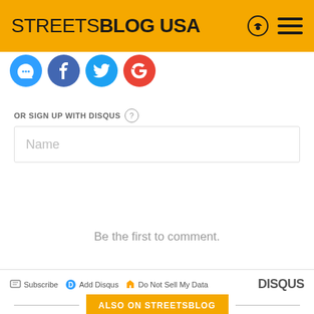STREETSBLOG USA
[Figure (screenshot): Social login icons: Disqus (blue), Facebook (dark blue), Twitter (light blue), Google (red)]
OR SIGN UP WITH DISQUS
Name
Be the first to comment.
Subscribe   Add Disqus   Do Not Sell My Data   DISQUS
ALSO ON STREETSBLOG
Profiles of American BRT: Pittsburgh's South